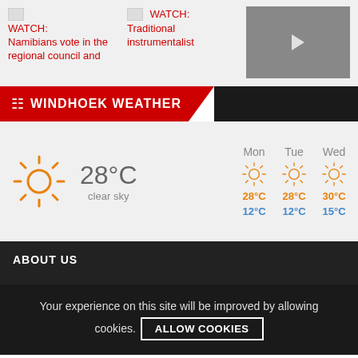[Figure (screenshot): Video thumbnail placeholder with red title: WATCH: Namibians vote in the regional council and]
[Figure (screenshot): Video thumbnail placeholder with red title: WATCH: Traditional instrumentalist]
[Figure (photo): Video thumbnail showing two people at a table with pink banner]
WINDHOEK WEATHER
[Figure (infographic): Weather widget showing current weather 28°C clear sky with sun icon, and 3-day forecast for Mon, Tue, Wed with sun icons and temperatures]
ABOUT US
Your experience on this site will be improved by allowing cookies.
ALLOW COOKIES